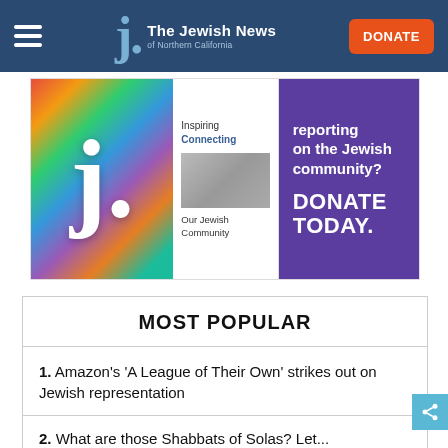The Jewish News of Northern California
[Figure (illustration): Promotional banner ad for The Jewish News featuring a large colorful letter J collage, text 'Inspiring', 'Connecting', 'Our Jewish Community' on white panel, and 'reporting on the Jewish community? DONATE TODAY.' on purple panel]
MOST POPULAR
1. Amazon's 'A League of Their Own' strikes out on Jewish representation
2. What are those Shabbats of Solas? Let...